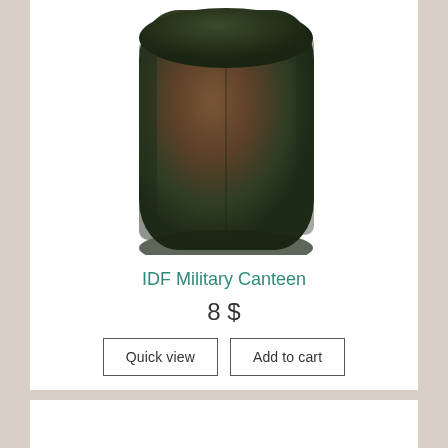[Figure (photo): IDF Military Canteen product photo showing a dark olive green/brown military-style flat canteen against a white background]
IDF Military Canteen
8 $
Quick view | Add to cart